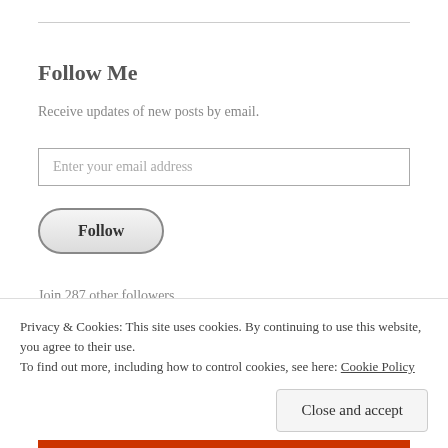Follow Me
Receive updates of new posts by email.
Enter your email address
Follow
Join 287 other followers
Privacy & Cookies: This site uses cookies. By continuing to use this website, you agree to their use.
To find out more, including how to control cookies, see here: Cookie Policy
Close and accept